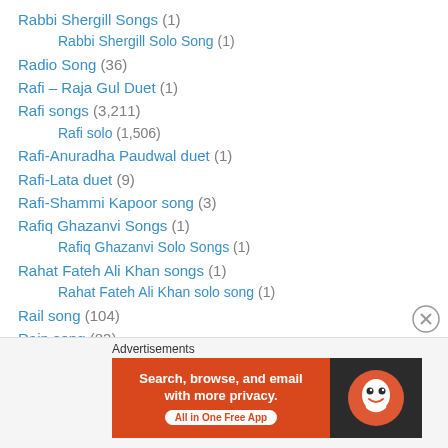Rabbi Shergill Songs (1)
Rabbi Shergill Solo Song (1)
Radio Song (36)
Rafi – Raja Gul Duet (1)
Rafi songs (3,211)
Rafi solo (1,506)
Rafi-Anuradha Paudwal duet (1)
Rafi-Lata duet (9)
Rafi-Shammi Kapoor song (3)
Rafiq Ghazanvi Songs (1)
Rafiq Ghazanvi Solo Songs (1)
Rahat Fateh Ali Khan songs (1)
Rahat Fateh Ali Khan solo song (1)
Rail song (104)
Rain song (83)
Raj darbaar song (73)
[Figure (screenshot): DuckDuckGo advertisement banner: orange background with text 'Search, browse, and email with more privacy. All in One Free App' and DuckDuckGo logo on dark background]
Advertisements